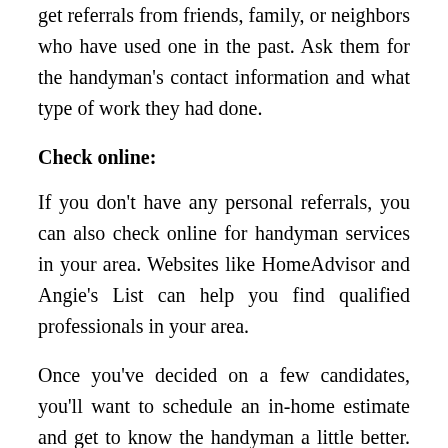get referrals from friends, family, or neighbors who have used one in the past. Ask them for the handyman's contact information and what type of work they had done.
Check online:
If you don't have any personal referrals, you can also check online for handyman services in your area. Websites like HomeAdvisor and Angie's List can help you find qualified professionals in your area.
Once you've decided on a few candidates, you'll want to schedule an in-home estimate and get to know the handyman a little better. Get the details of their experience and ask them questions about their process. You can also check online reviews to see what other homeowners have said about their